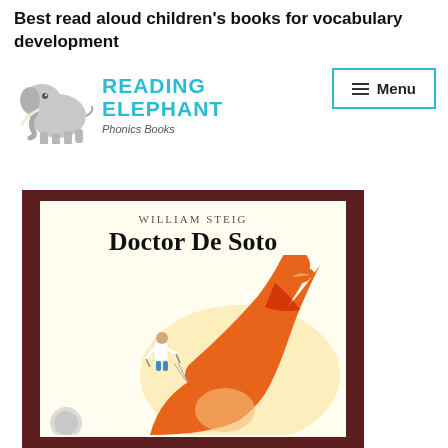Best read aloud children's books for vocabulary development
[Figure (logo): Reading Elephant Phonics Books logo with elephant illustration and teal text]
[Figure (photo): Book cover of 'Doctor De Soto' by William Steig, showing a fox with open mouth and a small mouse dentist character]